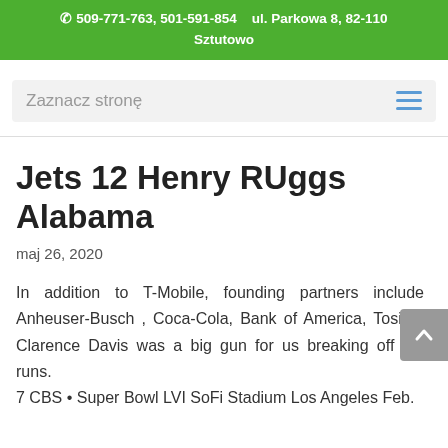☎ 509-771-763, 501-591-854    ul. Parkowa 8, 82-110 Sztutowo
Zaznacz stronę
Jets 12 Henry RUggs Alabama
maj 26, 2020
In addition to T-Mobile, founding partners include Anheuser-Busch , Coca-Cola, Bank of America, Tosiba. Clarence Davis was a big gun for us breaking off big runs. 7 CBS • Super Bowl LVI SoFi Stadium Los Angeles Feb.